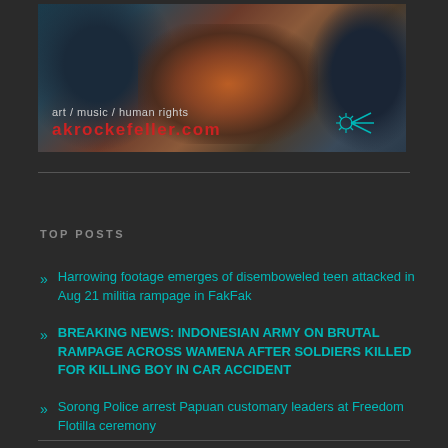[Figure (photo): Website banner with dark atmospheric image showing human silhouettes and fire/light, with text overlay 'art / music / human rights' and 'akrockefeller.com' in red]
TOP POSTS
Harrowing footage emerges of disemboweled teen attacked in Aug 21 militia rampage in FakFak
BREAKING NEWS: INDONESIAN ARMY ON BRUTAL RAMPAGE ACROSS WAMENA AFTER SOLDIERS KILLED FOR KILLING BOY IN CAR ACCIDENT
Sorong Police arrest Papuan customary leaders at Freedom Flotilla ceremony